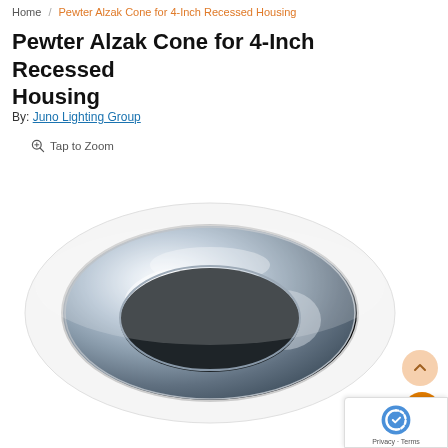Home / Pewter Alzak Cone for 4-Inch Recessed Housing
Pewter Alzak Cone for 4-Inch Recessed Housing
By: Juno Lighting Group
Tap to Zoom
[Figure (photo): Product photo of a Pewter Alzak Cone for 4-Inch Recessed Housing — a white circular trim ring with a shiny silver/chrome cone reflector insert, shown from a slight angle against a white background.]